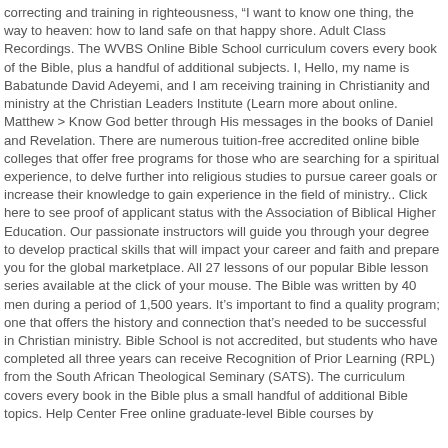correcting and training in righteousness, “I want to know one thing, the way to heaven: how to land safe on that happy shore. Adult Class Recordings. The WVBS Online Bible School curriculum covers every book of the Bible, plus a handful of additional subjects. I, Hello, my name is Babatunde David Adeyemi, and I am receiving training in Christianity and ministry at the Christian Leaders Institute (Learn more about online. Matthew > Know God better through His messages in the books of Daniel and Revelation. There are numerous tuition-free accredited online bible colleges that offer free programs for those who are searching for a spiritual experience, to delve further into religious studies to pursue career goals or increase their knowledge to gain experience in the field of ministry.. Click here to see proof of applicant status with the Association of Biblical Higher Education. Our passionate instructors will guide you through your degree to develop practical skills that will impact your career and faith and prepare you for the global marketplace. All 27 lessons of our popular Bible lesson series available at the click of your mouse. The Bible was written by 40 men during a period of 1,500 years. It’s important to find a quality program; one that offers the history and connection that’s needed to be successful in Christian ministry. Bible School is not accredited, but students who have completed all three years can receive Recognition of Prior Learning (RPL) from the South African Theological Seminary (SATS). The curriculum covers every book in the Bible plus a small handful of additional Bible topics. Help Center Free online graduate-level Bible courses by